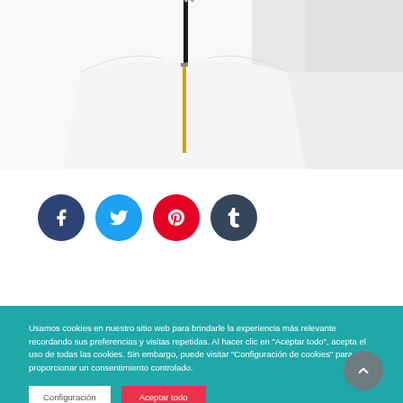[Figure (photo): Product photo showing a white garment with gold zipper detail on a dark hanger against white background]
[Figure (infographic): Social media sharing icons: Facebook (dark blue), Twitter (light blue), Pinterest (red), Tumblr (dark grey)]
Usamos cookies en nuestro sitio web para brindarle la experiencia más relevante recordando sus preferencias y visitas repetidas. Al hacer clic en "Aceptar todo", acepta el uso de todas las cookies. Sin embargo, puede visitar "Configuración de cookies" para proporcionar un consentimiento controlado.